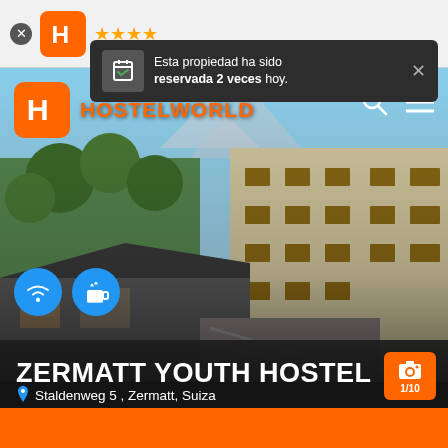[Figure (screenshot): Hostelworld mobile app screenshot showing Zermatt Youth Hostel listing with photo, amenity icons, and booking notification overlay]
Esta propiedad ha sido reservada 2 veces hoy.
ZERMATT YOUTH HOSTEL
Staldenweg 5 , Zermatt, Suiza
1/10